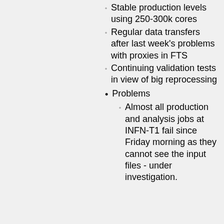Stable production levels using 250-300k cores
Regular data transfers after last week's problems with proxies in FTS
Continuing validation tests in view of big reprocessing
Problems
Almost all production and analysis jobs at INFN-T1 fail since Friday morning as they cannot see the input files - under investigation.